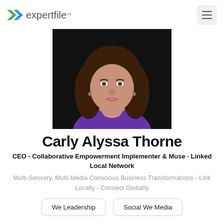expertfile™
[Figure (photo): Professional headshot of Carly Alyssa Thorne, a woman with long dark wavy hair wearing a purple top, posed with hand near chin against dark background]
Carly Alyssa Thorne
CEO - Collaborative Empowerment Implementer & Muse · Linked Local Network
Multi-Sensory, Multi-Media Conscious Business Transformations - Link Locally - Connect Globally
We Leadership
Social We Media